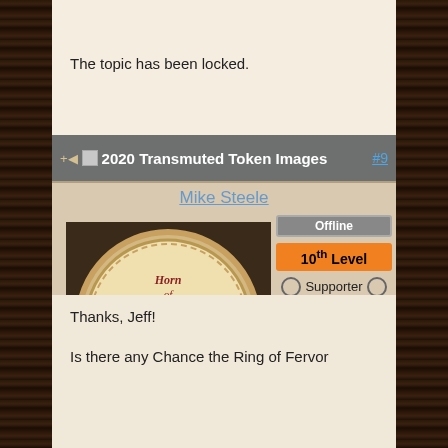The topic has been locked.
2020 Transmuted Token Images #9
Mike Steele
Offline
10th Level
Supporter
Posts: 19091
[Figure (photo): Circular tin lid with 'Horn of Mike' written on it, depicting a stylized horn/bull skull design]
Thanks, Jeff!

Is there any Chance the Ring of Fervor